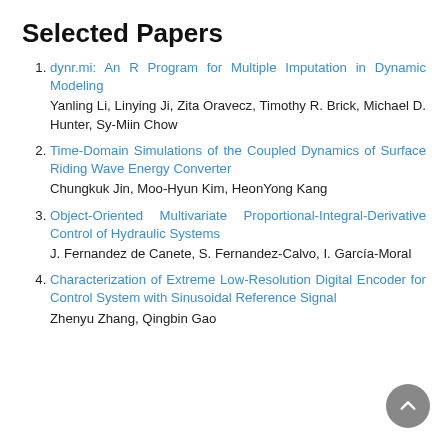Selected Papers
dynr.mi: An R Program for Multiple Imputation in Dynamic Modeling
Yanling Li, Linying Ji, Zita Oravecz, Timothy R. Brick, Michael D. Hunter, Sy-Miin Chow
Time-Domain Simulations of the Coupled Dynamics of Surface Riding Wave Energy Converter
Chungkuk Jin, Moo-Hyun Kim, HeonYong Kang
Object-Oriented Multivariate Proportional-Integral-Derivative Control of Hydraulic Systems
J. Fernandez de Canete, S. Fernandez-Calvo, I. García-Moral
Characterization of Extreme Low-Resolution Digital Encoder for Control System with Sinusoidal Reference Signal
Zhenyu Zhang, Qingbin Gao